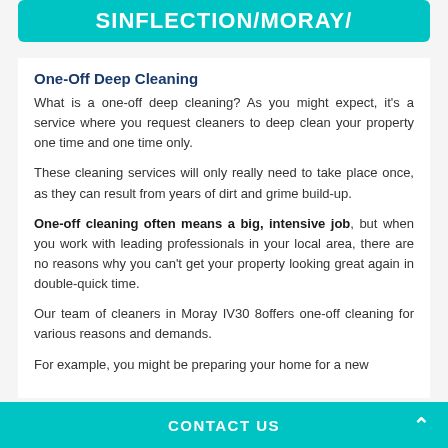SINFLECTION/MORAY/
One-Off Deep Cleaning
What is a one-off deep cleaning? As you might expect, it's a service where you request cleaners to deep clean your property one time and one time only.
These cleaning services will only really need to take place once, as they can result from years of dirt and grime build-up.
One-off cleaning often means a big, intensive job, but when you work with leading professionals in your local area, there are no reasons why you can't get your property looking great again in double-quick time.
Our team of cleaners in Moray IV30 8offers one-off cleaning for various reasons and demands.
For example, you might be preparing your home for a new
CONTACT US